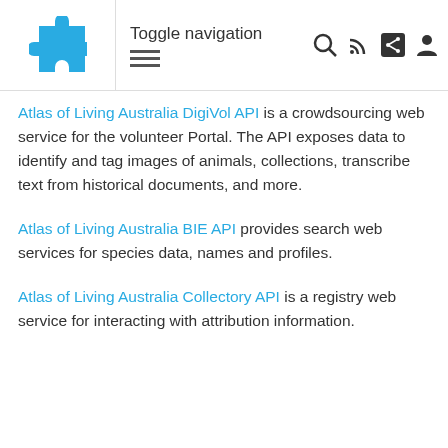Toggle navigation
Atlas of Living Australia DigiVol API is a crowdsourcing web service for the volunteer Portal. The API exposes data to identify and tag images of animals, collections, transcribe text from historical documents, and more.
Atlas of Living Australia BIE API provides search web services for species data, names and profiles.
Atlas of Living Australia Collectory API is a registry web service for interacting with attribution information.